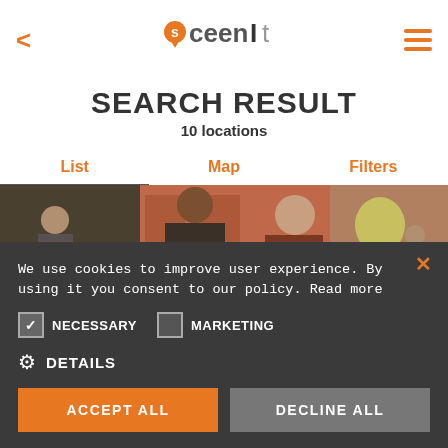[Figure (logo): Sceenit app logo with orange location pin and stylized text]
SEARCH RESULT
10 locations
List	Map	Filters
[Figure (photo): Street scene with two women in foreground, people walking in background, brick building]
We use cookies to improve user experience. By using it you consent to our policy. Read more
NECESSARY	MARKETING
DETAILS
ACCEPT ALL
DECLINE ALL